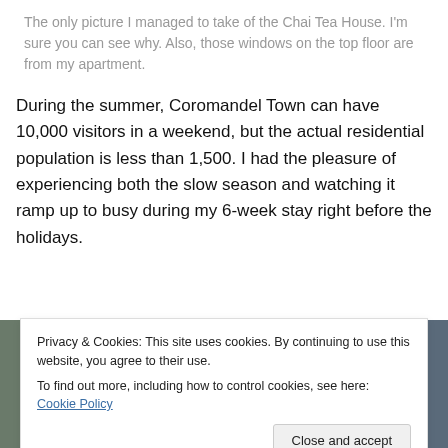The only picture I managed to take of the Chai Tea House. I'm sure you can see why. Also, those windows on the top floor are from my apartment.
During the summer, Coromandel Town can have 10,000 visitors in a weekend, but the actual residential population is less than 1,500. I had the pleasure of experiencing both the slow season and watching it ramp up to busy during my 6-week stay right before the holidays.
[Figure (photo): Photo strip of Coromandel Town scenes, partially obscured by cookie banner]
Privacy & Cookies: This site uses cookies. By continuing to use this website, you agree to their use.
To find out more, including how to control cookies, see here: Cookie Policy